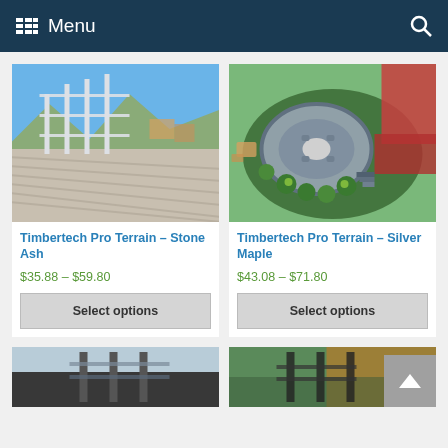Menu
[Figure (photo): Timbertech Pro Terrain Stone Ash - deck with glass railing, mountain view and gray composite decking boards]
Timbertech Pro Terrain – Stone Ash
$35.88 – $59.80
Select options
[Figure (photo): Timbertech Pro Terrain Silver Maple - aerial view of curved deck with outdoor furniture, surrounded by green landscaping]
Timbertech Pro Terrain – Silver Maple
$43.08 – $71.80
Select options
[Figure (photo): Partial product image at bottom left - deck railing product]
[Figure (photo): Partial product image at bottom right - deck with sunset lighting]